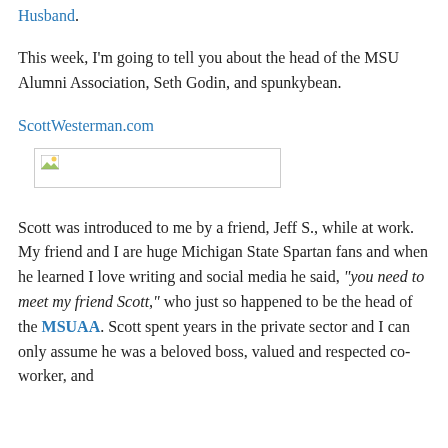Husband.
This week, I'm going to tell you about the head of the MSU Alumni Association, Seth Godin, and spunkybean.
ScottWesterman.com
[Figure (photo): Broken image placeholder with small image icon in top-left corner, shown as a rectangle with a border]
Scott was introduced to me by a friend, Jeff S., while at work. My friend and I are huge Michigan State Spartan fans and when he learned I love writing and social media he said, "you need to meet my friend Scott," who just so happened to be the head of the MSUAA. Scott spent years in the private sector and I can only assume he was a beloved boss, valued and respected co-worker, and